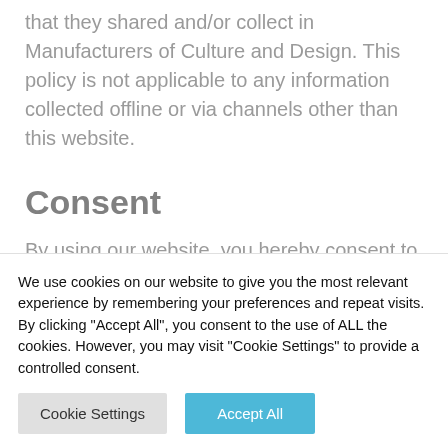that they shared and/or collect in Manufacturers of Culture and Design. This policy is not applicable to any information collected offline or via channels other than this website.
Consent
By using our website, you hereby consent to our Privacy
We use cookies on our website to give you the most relevant experience by remembering your preferences and repeat visits. By clicking "Accept All", you consent to the use of ALL the cookies. However, you may visit "Cookie Settings" to provide a controlled consent.